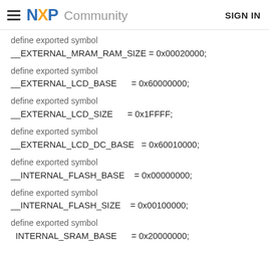NXP Community   SIGN IN
define exported symbol
__EXTERNAL_MRAM_RAM_SIZE = 0x00020000;
define exported symbol
__EXTERNAL_LCD_BASE      = 0x60000000;
define exported symbol
__EXTERNAL_LCD_SIZE      = 0x1FFFF;
define exported symbol
__EXTERNAL_LCD_DC_BASE  = 0x60010000;
define exported symbol
__INTERNAL_FLASH_BASE    = 0x00000000;
define exported symbol
__INTERNAL_FLASH_SIZE    = 0x00100000;
define exported symbol
INTERNAL_SRAM_BASE       = 0x20000000;